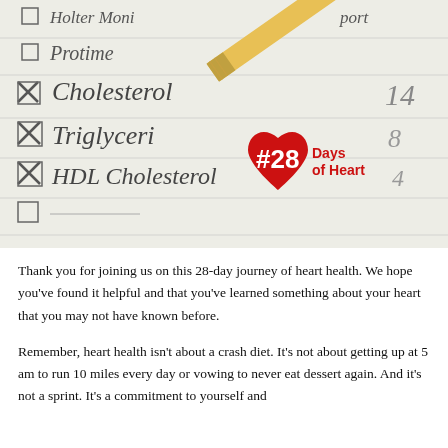[Figure (photo): Close-up photo of a medical checklist showing items: Holter Monitor, Protime, Cholesterol (checked with X), Triglycerides (checked with X), HDL Cholesterol (checked with X), with a pencil resting on the paper. A red heart-shaped badge overlays the image with text '#28 Days of Heart'.]
Thank you for joining us on this 28-day journey of heart health. We hope you've found it helpful and that you've learned something about your heart that you may not have known before.
Remember, heart health isn't about a crash diet. It's not about getting up at 5 am to run 10 miles every day or vowing to never eat dessert again. And it's not a sprint. It's a commitment to yourself and